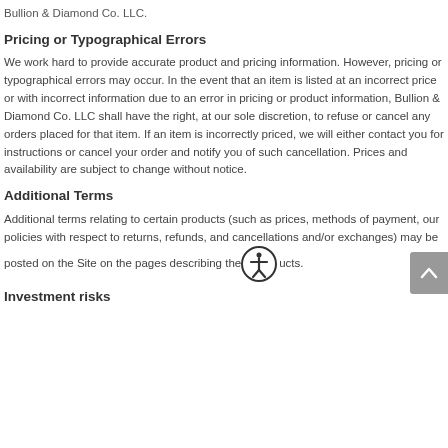Bullion & Diamond Co. LLC.
Pricing or Typographical Errors
We work hard to provide accurate product and pricing information. However, pricing or typographical errors may occur. In the event that an item is listed at an incorrect price or with incorrect information due to an error in pricing or product information, Bullion & Diamond Co. LLC shall have the right, at our sole discretion, to refuse or cancel any orders placed for that item. If an item is incorrectly priced, we will either contact you for instructions or cancel your order and notify you of such cancellation. Prices and availability are subject to change without notice.
Additional Terms
Additional terms relating to certain products (such as prices, methods of payment, our policies with respect to returns, refunds, and cancellations and/or exchanges) may be posted on the Site on the pages describing the products.
Investment risks